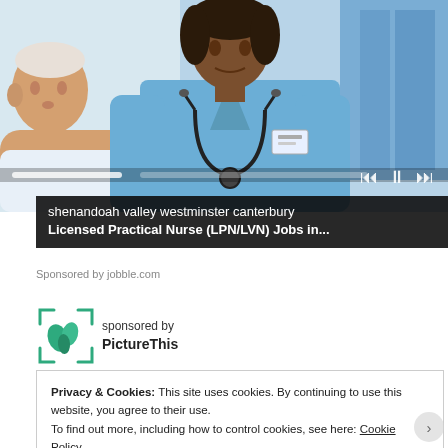[Figure (photo): Photo of a nurse in blue scrubs with a stethoscope attending to an elderly patient; overlaid with video player controls and progress bar]
shenandoah valley westminster canterbury
Licensed Practical Nurse (LPN/LVN) Jobs in...
Sponsored by jobble.com
[Figure (logo): PictureThis logo - green plant/leaf icon in teal bracket frame]
sponsored by
PictureThis
Privacy & Cookies: This site uses cookies. By continuing to use this website, you agree to their use.
To find out more, including how to control cookies, see here: Cookie Policy
Close and accept